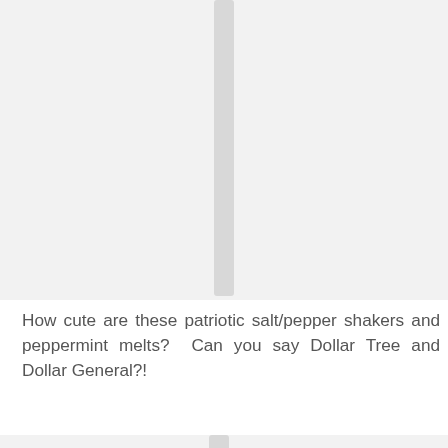[Figure (photo): Photo of patriotic salt/pepper shakers and peppermint melts, partially visible at top of page]
How cute are these patriotic salt/pepper shakers and peppermint melts?  Can you say Dollar Tree and Dollar General?!
[Figure (photo): Photo of whimsical napkin rings from Pier One with plastic cups in the background from Dollar store]
I found these whimsical napkin rings at Pier One (on sale) and the cute plastic cups in the background are from Dollar